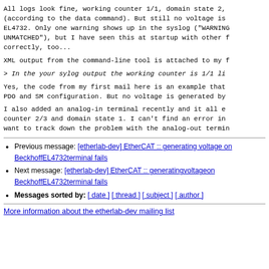All logs look fine, working counter 1/1, domain state 2, (according to the data command). But still no voltage is EL4732. Only one warning shows up in the syslog ("WARNING UNMATCHED"), but I have seen this at startup with other f correctly, too...
XML output from the command-line tool is attached to my f
> In the your sylog output the working counter is 1/1 li
Yes, the code from my first mail here is an example that PDO and SM configuration. But no voltage is generated by
I also added an analog-in terminal recently and it all e counter 2/3 and domain state 1. I can't find an error in want to track down the problem with the analog-out termin
Previous message: [etherlab-dev] EtherCAT :: generating voltage on BeckhoffEL4732terminal fails
Next message: [etherlab-dev] EtherCAT :: generatingvoltageon BeckhoffEL4732terminal fails
Messages sorted by: [ date ] [ thread ] [ subject ] [ author ]
More information about the etherlab-dev mailing list